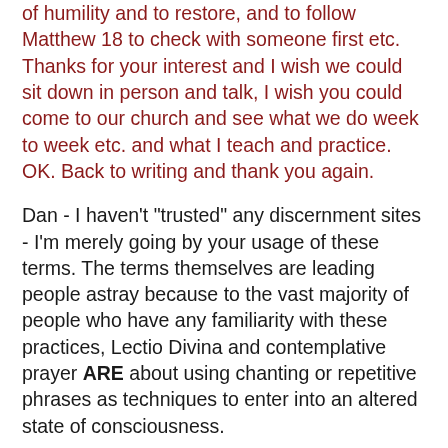of humility and to restore, and to follow Matthew 18 to check with someone first etc. Thanks for your interest and I wish we could sit down in person and talk, I wish you could come to our church and see what we do week to week etc. and what I teach and practice. OK. Back to writing and thank you again.
Dan - I haven't "trusted" any discernment sites - I'm merely going by your usage of these terms. The terms themselves are leading people astray because to the vast majority of people who have any familiarity with these practices, Lectio Divina and contemplative prayer ARE about using chanting or repetitive phrases as techniques to enter into an altered state of consciousness.
Any Google search for "Lectio Divina" will bring up any number of sites giving the classic Lectio Divina techniques for entering into an altered state of consciousness.
Maybe we can talk more about this privately. I have personal experience with mysticism, having myself practiced Lectio Divina and other forms of mantra meditation before being saved.